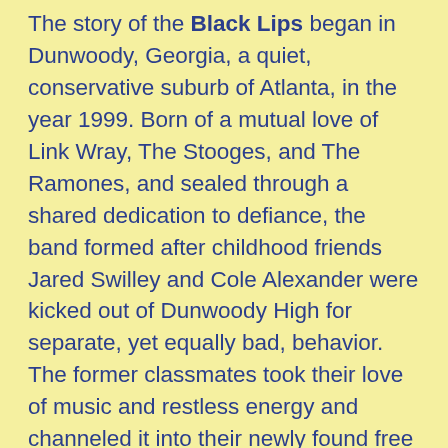The story of the Black Lips began in Dunwoody, Georgia, a quiet, conservative suburb of Atlanta, in the year 1999. Born of a mutual love of Link Wray, The Stooges, and The Ramones, and sealed through a shared dedication to defiance, the band formed after childhood friends Jared Swilley and Cole Alexander were kicked out of Dunwoody High for separate, yet equally bad, behavior. The former classmates took their love of music and restless energy and channeled it into their newly found free time, and joined by friends Ben Eberbaugh and Joe Bradley, the Black Lips started playing shows around Atlanta, at house parties and bars. They spent this time honing their sound – garage rock infused with blues, psychedelia, and punk, plus a healthy